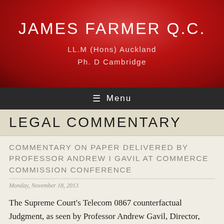JAMES FARMER Q.C.
LL.M (Hons) Auckland
Ph. D Cambridge
≡ Menu
LEGAL COMMENTARY
COMMENTARY ON PAPER DELIVERED BY PROFESSOR ANDREW I GAVIL AT COMMERCE COMMISSION CONFERENCE
Monday, November 18, 2013
The Supreme Court's Telecom 0867 counterfactual Judgment, as seen by Professor Andrew Gavil, Director, Office of Policy Planning, US Federal Trade Commission